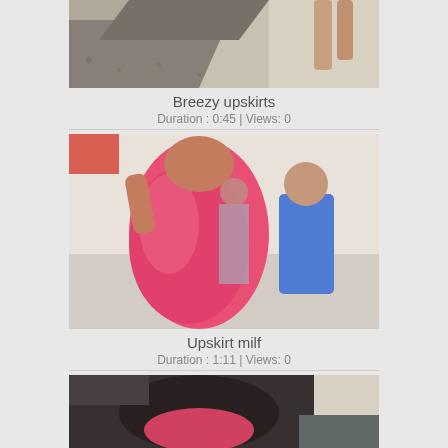[Figure (photo): Cropped top portion of outdoor video thumbnail showing pavement and a person's legs]
Breezy upskirts
Duration : 0:45 | Views: 0
[Figure (photo): Video thumbnail showing a person in a pink dress in a crowded outdoor area, motion blur]
Upskirt milf
Duration : 1:11 | Views: 0
[Figure (photo): Partial video thumbnail showing a person from behind indoors, cropped at bottom of page]